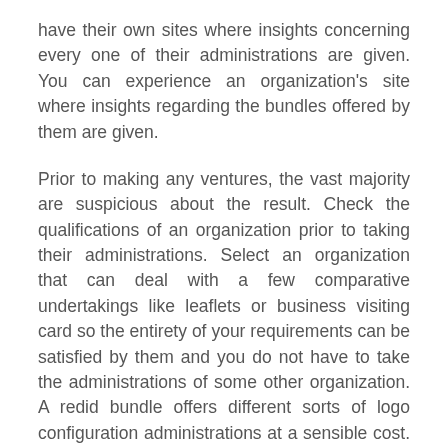have their own sites where insights concerning every one of their administrations are given. You can experience an organization's site where insights regarding the bundles offered by them are given.
Prior to making any ventures, the vast majority are suspicious about the result. Check the qualifications of an organization prior to taking their administrations. Select an organization that can deal with a few comparative undertakings like leaflets or business visiting card so the entirety of your requirements can be satisfied by them and you do not have to take the administrations of some other organization. A redid bundle offers different sorts of logo configuration administrations at a sensible cost. One can get confounded while choosing a visual computerization organization thinking about the huge number of organizations associated with this field however in the event that you follow all the rules